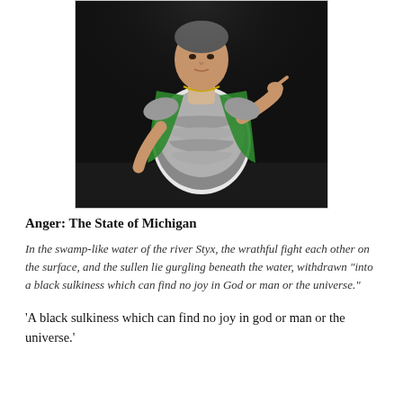[Figure (photo): A man in Roman gladiator-style silver breastplate armor with a green cape and white tunic, standing on a dark stage, making a gesture with his hand.]
Anger: The State of Michigan
In the swamp-like water of the river Styx, the wrathful fight each other on the surface, and the sullen lie gurgling beneath the water, withdrawn "into a black sulkiness which can find no joy in God or man or the universe."
'A black sulkiness which can find no joy in god or man or the universe.'